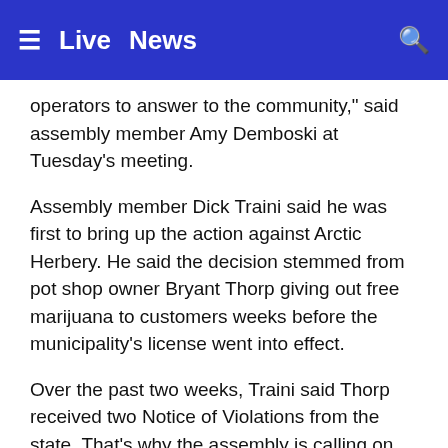≡  Live  News  🔍
operators to answer to the community," said assembly member Amy Demboski at Tuesday's meeting.
Assembly member Dick Traini said he was first to bring up the action against Arctic Herbery. He said the decision stemmed from pot shop owner Bryant Thorp giving out free marijuana to customers weeks before the municipality's license went into effect.
Over the past two weeks, Traini said Thorp received two Notice of Violations from the state. That's why the assembly is calling on Thorp to appear in front of the assembly at their Nov. 15 meeting.
“We’re willing to support these people, we’re willing to give them a licenses, but you've got to maintain the regulations we have,” said Traini. “I don’t think this individual did.”